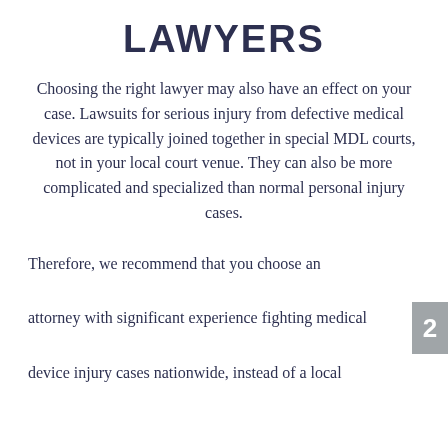LAWYERS
Choosing the right lawyer may also have an effect on your case. Lawsuits for serious injury from defective medical devices are typically joined together in special MDL courts, not in your local court venue. They can also be more complicated and specialized than normal personal injury cases.
Therefore, we recommend that you choose an attorney with significant experience fighting medical device injury cases nationwide, instead of a local